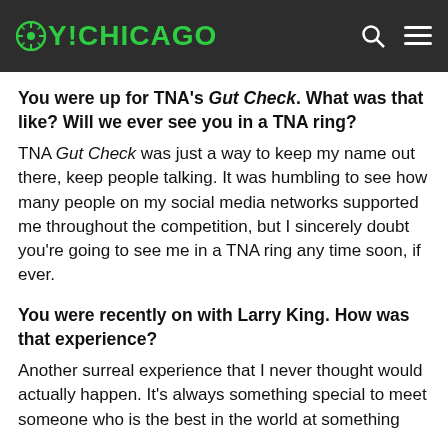OY!CHICAGO
You were up for TNA's Gut Check. What was that like? Will we ever see you in a TNA ring?
TNA Gut Check was just a way to keep my name out there, keep people talking. It was humbling to see how many people on my social media networks supported me throughout the competition, but I sincerely doubt you're going to see me in a TNA ring any time soon, if ever.
You were recently on with Larry King. How was that experience?
Another surreal experience that I never thought would actually happen. It's always something special to meet someone who is the best in the world at something